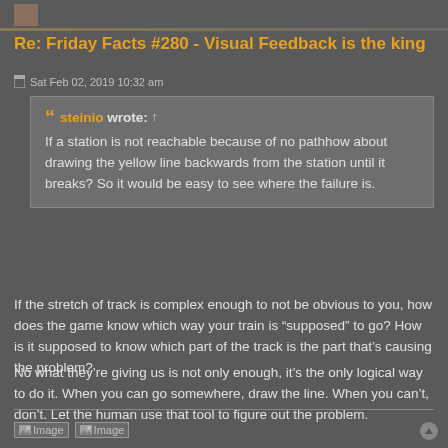Re: Friday Facts #280 - Visual Feedback is the king
Sat Feb 02, 2019 10:32 am
steinio wrote: ↑
If a station is not reachable because of no pathhow about drawing the yellow line backwards from the station until it breaks? So it would be easy to see where the failure is.
If the stretch of track is complex enough to not be obvious to you, how does the game know which way your train is "supposed" to go? How is it supposed to know which part of the track is the part that's causing the problem?
No what they're giving us is not only enough, it's the only logical way to do it. When you can go somewhere, draw the line. When you can't, don't. Let the human use that tool to figure out the problem.
[Figure (illustration): Two image placeholders at the bottom of the post]